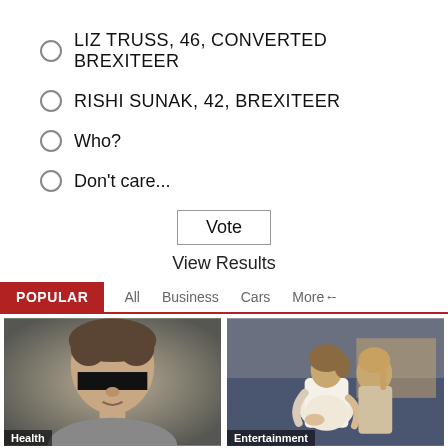LIZ TRUSS, 46, CONVERTED BREXITEER
RISHI SUNAK, 42, BREXITEER
Who?
Don't care...
Vote
View Results
POPULAR
All   Business   Cars   More
[Figure (photo): Health section thumbnail showing a person with eyes redacted]
Health
[Figure (photo): Entertainment section thumbnail showing a pregnant woman being embraced]
Entertainment